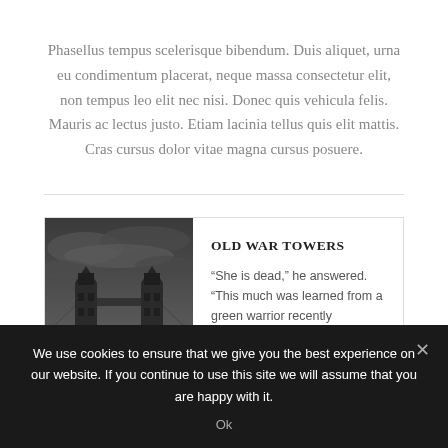Phasellus tempus scelerisque bibendum. Duis aliquet, urna eu condimentum placerat, neque massa consectetur elit, non tempus leo elit nec nisi. Donec quis vehicula felis. Mauris ac lectus justo. Etiam lacinia tellus quis elit mattis. Cras cursus dolor vitae magna cursus posuere.
[Figure (photo): Dark dramatic photo of Tower Bridge in London under stormy cloudy skies, viewed from the river]
OLD WAR TOWERS
“She is dead,” he answered. “This much was learned from a green warrior recently
We use cookies to ensure that we give you the best experience on our website. If you continue to use this site we will assume that you are happy with it.